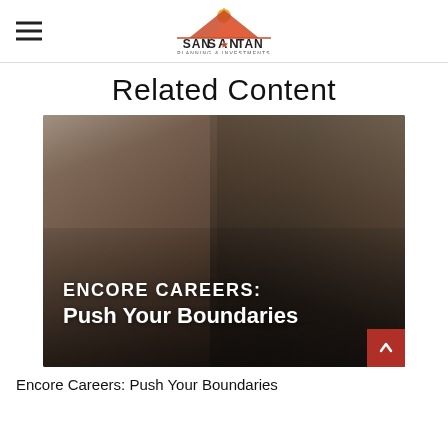SAN TAN PLANNING & INVESTMENTS
Related Content
[Figure (photo): Two older Asian adults wearing dark aprons working together, smiling, in what appears to be a restaurant or bar setting. Text overlay reads: ENCORE CAREERS: Push Your Boundaries]
Encore Careers: Push Your Boundaries